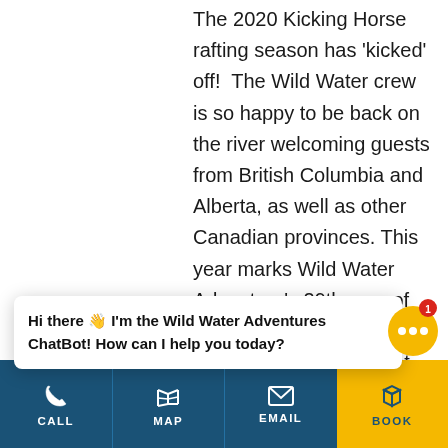The 2020 Kicking Horse rafting season has 'kicked' off! The Wild Water crew is so happy to be back on the river welcoming guests from British Columbia and Alberta, as well as other Canadian provinces. This year marks Wild Water Adventure's 29th year of operations. We could not be more proud of all that has been achieved over the past three decades. Protocols for safety and hygiene are [partially cut off] roster continues to offer daily [partially cut off]
Hi there 👋 I'm the Wild Water Adventures ChatBot! How can I help you today?
[Figure (other): Chat widget button with yellow circular background, three white dots, and red badge showing number 1]
CALL | MAP | EMAIL | BOOK